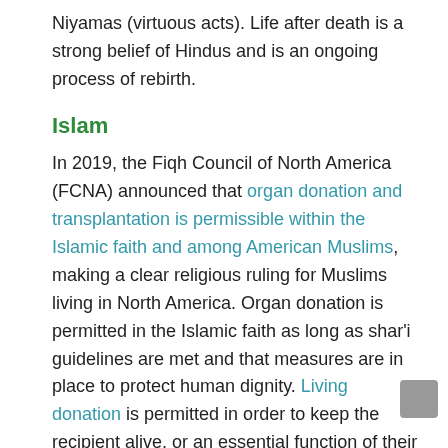Niyamas (virtuous acts). Life after death is a strong belief of Hindus and is an ongoing process of rebirth.
Islam
In 2019, the Fiqh Council of North America (FCNA) announced that organ donation and transplantation is permissible within the Islamic faith and among American Muslims, making a clear religious ruling for Muslims living in North America. Organ donation is permitted in the Islamic faith as long as shar'i guidelines are met and that measures are in place to protect human dignity. Living donation is permitted in order to keep the recipient alive, or an essential function of their body intact. In the case of deceased donation,